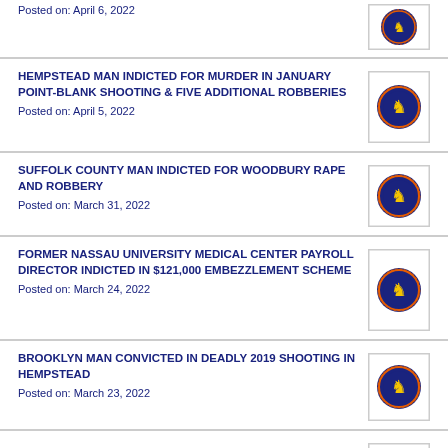Posted on: April 6, 2022
HEMPSTEAD MAN INDICTED FOR MURDER IN JANUARY POINT-BLANK SHOOTING & FIVE ADDITIONAL ROBBERIES
Posted on: April 5, 2022
SUFFOLK COUNTY MAN INDICTED FOR WOODBURY RAPE AND ROBBERY
Posted on: March 31, 2022
FORMER NASSAU UNIVERSITY MEDICAL CENTER PAYROLL DIRECTOR INDICTED IN $121,000 EMBEZZLEMENT SCHEME
Posted on: March 24, 2022
BROOKLYN MAN CONVICTED IN DEADLY 2019 SHOOTING IN HEMPSTEAD
Posted on: March 23, 2022